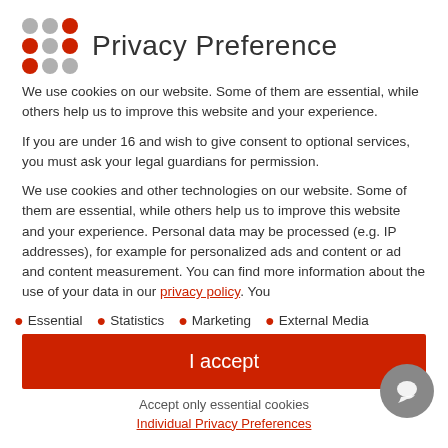Privacy Preference
We use cookies on our website. Some of them are essential, while others help us to improve this website and your experience.
If you are under 16 and wish to give consent to optional services, you must ask your legal guardians for permission.
We use cookies and other technologies on our website. Some of them are essential, while others help us to improve this website and your experience. Personal data may be processed (e.g. IP addresses), for example for personalized ads and content or ad and content measurement. You can find more information about the use of your data in our privacy policy. You
Essential
Statistics
Marketing
External Media
I accept
Accept only essential cookies
Individual Privacy Preferences